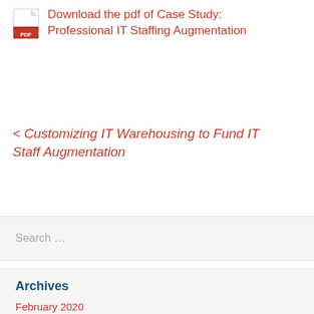[Figure (other): PDF icon (Adobe PDF logo) next to a download link]
Download the pdf of Case Study: Professional IT Staffing Augmentation
< Customizing IT Warehousing to Fund IT Staff Augmentation
Search …
Archives
February 2020
January 2020